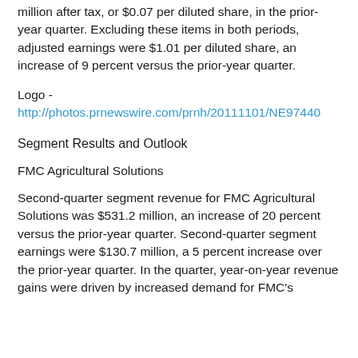million after tax, or $0.07 per diluted share, in the prior-year quarter. Excluding these items in both periods, adjusted earnings were $1.01 per diluted share, an increase of 9 percent versus the prior-year quarter.
Logo - http://photos.prnewswire.com/prnh/20111101/NE97440
Segment Results and Outlook
FMC Agricultural Solutions
Second-quarter segment revenue for FMC Agricultural Solutions was $531.2 million, an increase of 20 percent versus the prior-year quarter. Second-quarter segment earnings were $130.7 million, a 5 percent increase over the prior-year quarter. In the quarter, year-on-year revenue gains were driven by increased demand for FMC's